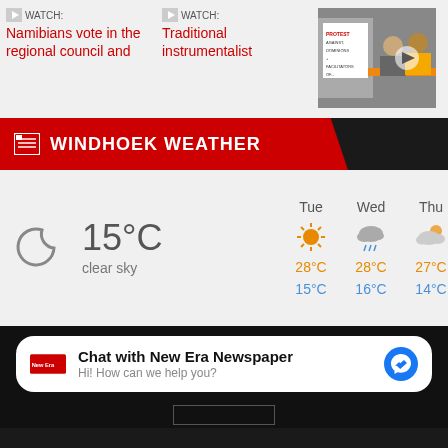[Figure (screenshot): News article thumbnails with WATCH links: 'Namibians vote in the regional council and' and 'Traditional instrumentalist', plus a video thumbnail of two people at a desk]
WINDHOEK WEATHER
[Figure (infographic): Weather widget showing current conditions: 15°C clear sky, with forecast for Tue (28°C/15°C), Wed (28°C/16°C), Thu (27°C/14°C)]
Chat with New Era Newspaper
Hi! How can we help you?